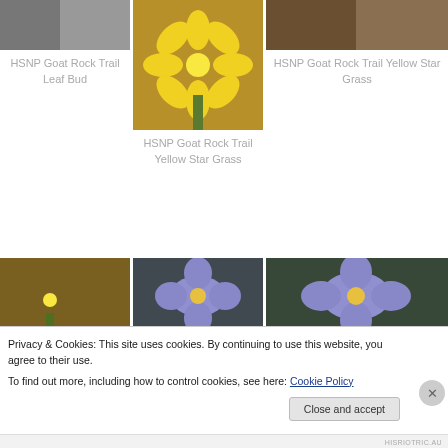[Figure (photo): Partial top-left photo of leaf bud on HSNP Goat Rock Trail]
HSNP Goat Rock Trail Leaf Bud
[Figure (photo): Yellow star-shaped flower (Yellow Star Grass) on HSNP Goat Rock Trail, center photo]
HSNP Goat Rock Trail Yellow Star Grass
[Figure (photo): Top-right photo of Yellow Star Grass on HSNP Goat Rock Trail]
HSNP Goat Rock Trail Yellow Star Grass
[Figure (photo): Bottom-left yellow star grass flower photo]
[Figure (photo): Bottom-center blue/purple violet flower photo]
[Figure (photo): Bottom-right blue/purple violet flower photo]
Privacy & Cookies: This site uses cookies. By continuing to use this website, you agree to their use.
To find out more, including how to control cookies, see here: Cookie Policy
Close and accept